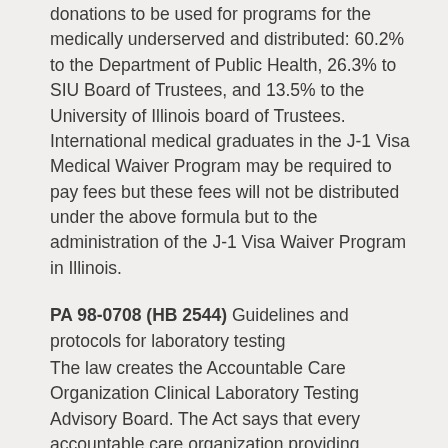donations to be used for programs for the medically underserved and distributed: 60.2% to the Department of Public Health, 26.3% to SIU Board of Trustees, and 13.5% to the University of Illinois board of Trustees. International medical graduates in the J-1 Visa Medical Waiver Program may be required to pay fees but these fees will not be distributed under the above formula but to the administration of the J-1 Visa Waiver Program in Illinois.
PA 98-0708 (HB 2544) Guidelines and protocols for laboratory testing
The law creates the Accountable Care Organization Clinical Laboratory Testing Advisory Board. The Act says that every accountable care organization providing diagnosis and treatment for patients in this State must establish an advisory board to consider and recommend guidelines or protocols for clinical laboratory testing.
PA 98-0767 (SB 3077) Physician assistants requesting